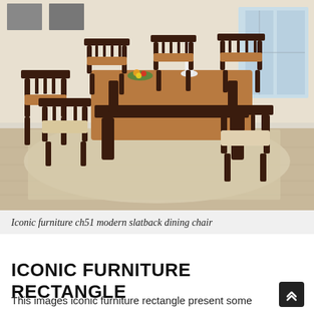[Figure (photo): A dining room set featuring a rectangular wooden table with a two-tone finish (medium brown top, dark espresso legs/frame) surrounded by six dark slatback dining chairs with upholstered beige seats, placed on a beige area rug over light wood flooring. A white vase sits on the table in the background near windows.]
Iconic furniture ch51 modern slatback dining chair
ICONIC FURNITURE RECTANGLE
This images iconic furniture rectangle present some